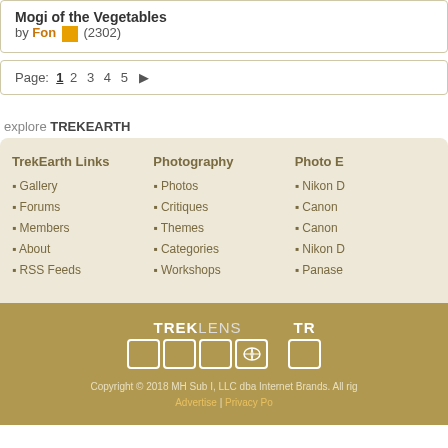Mogi of the Vegetables by Fon (2302)
Page: 1 2 3 4 5 ▶
explore TREKEARTH
TrekEarth Links
Gallery
Forums
Members
About
RSS Feeds
Photography
Photos
Critiques
Themes
Categories
Workshops
Photo E
Nikon
Canon
Canon
Nikon
Panase
[Figure (logo): TrekLens logo with four boxes and a globe icon; partial second logo (TR)]
Copyright © 2018 MH Sub I, LLC dba Internet Brands. All rig Advertise | Privacy Po